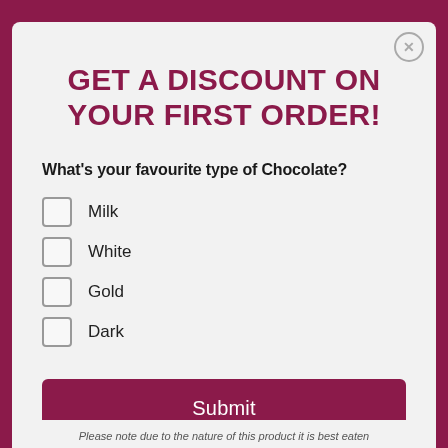GET A DISCOUNT ON YOUR FIRST ORDER!
What's your favourite type of Chocolate?
Milk
White
Gold
Dark
Submit
Please note due to the nature of this product it is best eaten